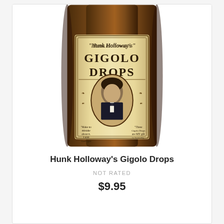[Figure (photo): A amber glass bottle with a vintage-style label reading 'Hunk Holloway's GIGOLO DROPS' featuring a portrait of a man in a bow tie and decorative Victorian-era design elements including ornamental borders and small figures on the sides.]
Hunk Holloway's Gigolo Drops
NOT RATED
$9.95